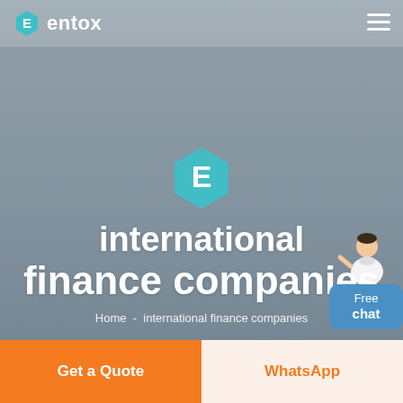[Figure (screenshot): Entox website screenshot showing a navigation bar with the Entox logo (teal hexagon with E) on the left and a hamburger menu on the right, on a semi-transparent white background over an aerial background image. A 'Free chat' widget with a person illustration appears on the right side.]
international finance companies
Home  -  international finance companies
Get a Quote
WhatsApp